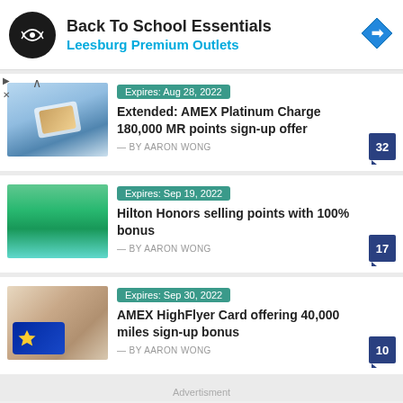[Figure (screenshot): Advertisement banner for Back To School Essentials at Leesburg Premium Outlets with logo and navigation arrow icon]
[Figure (photo): Photo of hands holding credit card over scenic water/mountains background - AMEX Platinum article thumbnail]
Expires: Aug 28, 2022
Extended: AMEX Platinum Charge 180,000 MR points sign-up offer
— BY AARON WONG
[Figure (photo): Photo of tropical resort with thatched roof huts and turquoise pool - Hilton Honors article thumbnail]
Expires: Sep 19, 2022
Hilton Honors selling points with 100% bonus
— BY AARON WONG
[Figure (photo): Photo of Singapore Airlines credit card against building background - AMEX HighFlyer article thumbnail]
Expires: Sep 30, 2022
AMEX HighFlyer Card offering 40,000 miles sign-up bonus
— BY AARON WONG
Advertisment